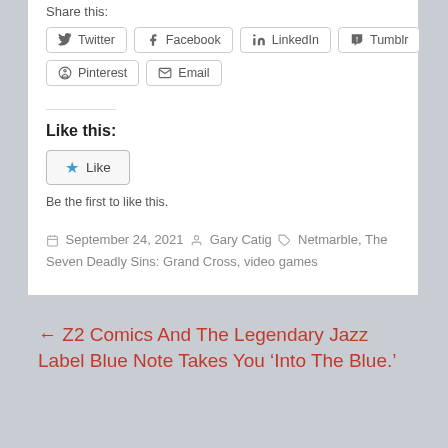Share this:
Twitter  Facebook  LinkedIn  Tumblr  Pinterest  Email
Like this:
Like
Be the first to like this.
September 24, 2021  Gary Catig  Netmarble, The Seven Deadly Sins: Grand Cross, video games
← Z2 Comics And The Legendary Jazz Label Blue Note Takes You ‘Into The Blue.’